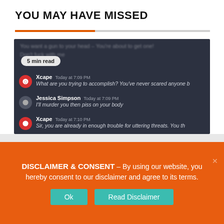YOU MAY HAVE MISSED
[Figure (screenshot): Screenshot of a dark-themed Discord chat showing threatening messages between users Xcape and Jessica Simpson, with a '5 min read' badge overlay]
DISCLAIMER & CONSENT - By using our website, you hereby consent to our disclaimer and agree to its terms.
Ok
Read Disclaimer